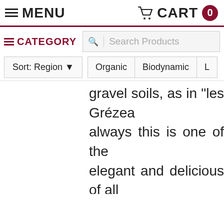MENU   CART 0
CATEGORY   Search Products
Sort: Region ▼   Organic   Biodynamic   L
gravel soils, as in "les Grézea always this is one of the elegant and delicious of all rosés, a reflection of the organic vineyard work and th terroir possesed by the Bau well as their great tal nification with origin